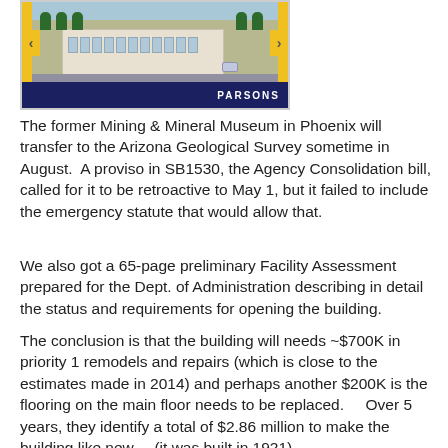[Figure (photo): Aerial photo of the former Mining & Mineral Museum in Phoenix, shown with a yellow border and a dark blue bottom bar with PARSONS text. Navigation arrows on left and right sides.]
The former Mining & Mineral Museum in Phoenix will transfer to the Arizona Geological Survey sometime in August.  A proviso in SB1530, the Agency Consolidation bill, called for it to be retroactive to May 1, but it failed to include the emergency statute that would allow that.
We also got a 65-page preliminary Facility Assessment prepared for the Dept. of Administration describing in detail the status and requirements for opening the building.
The conclusion is that the building will needs ~$700K in priority 1 remodels and repairs (which is close to the estimates made in 2014) and perhaps another $200K is the flooring on the main floor needs to be replaced.    Over 5 years, they identify a total of $2.86 million to make the building like new.   (it was built in 1921).